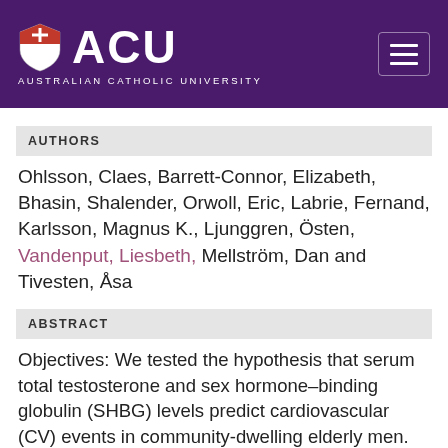ACU AUSTRALIAN CATHOLIC UNIVERSITY
AUTHORS
Ohlsson, Claes, Barrett-Connor, Elizabeth, Bhasin, Shalender, Orwoll, Eric, Labrie, Fernand, Karlsson, Magnus K., Ljunggren, Östen, Vandenput, Liesbeth, Mellström, Dan and Tivesten, Åsa
ABSTRACT
Objectives: We tested the hypothesis that serum total testosterone and sex hormone–binding globulin (SHBG) levels predict cardiovascular (CV) events in community-dwelling elderly men. Background: Low serum testosterone is associated with increased adiposity, an adverse metabolic risk profile, and atherosclerosis. However, few prospective studies have demonstrated a